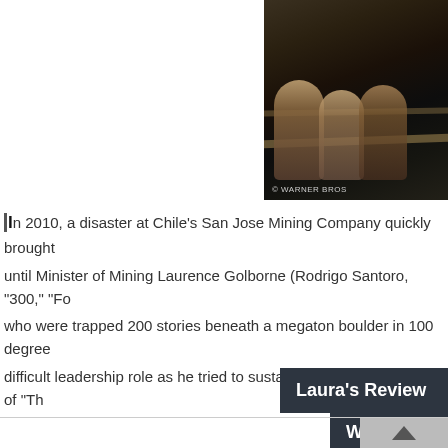[Figure (photo): Movie still/promotional photo showing dark silhouettes of people, likely from a film. Watermark reads '© WARNER BROS' in the lower left of the image.]
In 2010, a disaster at Chile's San Jose Mining Company quickly brought until Minister of Mining Laurence Golborne (Rodrigo Santoro, "300," "Foo who were trapped 200 stories beneath a megaton boulder in 100 degree difficult leadership role as he tried to sustain the minds and bodies of "Th
Laura's Review
Wat